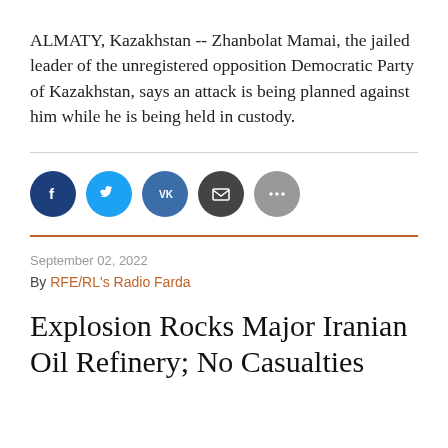ALMATY, Kazakhstan -- Zhanbolat Mamai, the jailed leader of the unregistered opposition Democratic Party of Kazakhstan, says an attack is being planned against him while he is being held in custody.
[Figure (infographic): Social media sharing buttons: Facebook (dark blue), Twitter (light blue), VK (blue), Email (dark grey), More (grey)]
September 02, 2022
By RFE/RL's Radio Farda
Explosion Rocks Major Iranian Oil Refinery; No Casualties